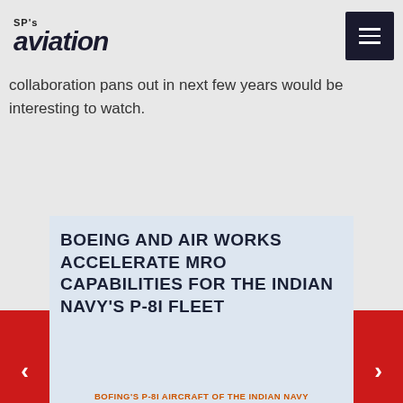SP's aviation
collaboration pans out in next few years would be interesting to watch.
BOEING AND AIR WORKS ACCELERATE MRO CAPABILITIES FOR THE INDIAN NAVY'S P-8I FLEET
BOFING'S P-8I AIRCRAFT OF THE INDIAN NAVY